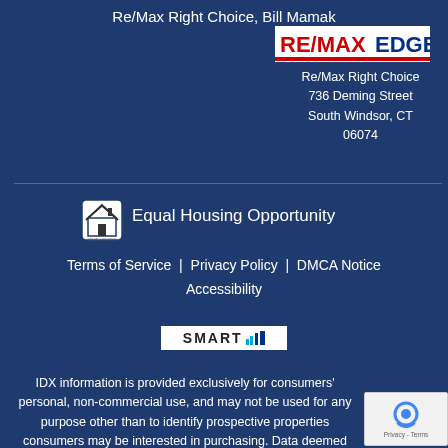Re/Max Right Choice, Bill Mamak
[Figure (logo): RE/MAX Edge logo in red and blue]
Re/Max Right Choice
736 Deming Street
South Windsor, CT
06074
[Figure (logo): Equal Housing Opportunity icon with house symbol]
Equal Housing Opportunity
Terms of Service | Privacy Policy | DMCA Notice
Accessibility
[Figure (logo): SMART MLS logo]
IDX information is provided exclusively for consumers' personal, non-commercial use, and may not be used for any purpose other than to identify prospective properties consumers may be interested in purchasing. Data deemed reliable but not